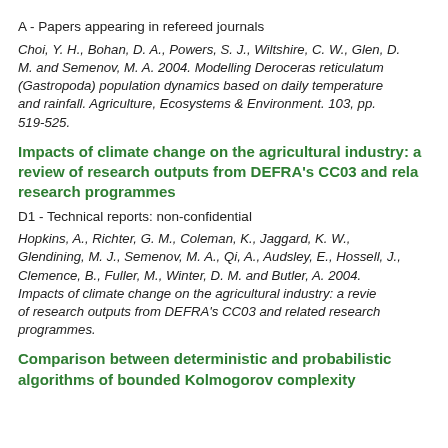A - Papers appearing in refereed journals
Choi, Y. H., Bohan, D. A., Powers, S. J., Wiltshire, C. W., Glen, D. M. and Semenov, M. A. 2004. Modelling Deroceras reticulatum (Gastropoda) population dynamics based on daily temperature and rainfall. Agriculture, Ecosystems & Environment. 103, pp. 519-525.
Impacts of climate change on the agricultural industry: a review of research outputs from DEFRA's CC03 and related research programmes
D1 - Technical reports: non-confidential
Hopkins, A., Richter, G. M., Coleman, K., Jaggard, K. W., Glendining, M. J., Semenov, M. A., Qi, A., Audsley, E., Hossell, J., Clemence, B., Fuller, M., Winter, D. M. and Butler, A. 2004. Impacts of climate change on the agricultural industry: a review of research outputs from DEFRA's CC03 and related research programmes.
Comparison between deterministic and probabilistic algorithms of bounded Kolmogorov complexity